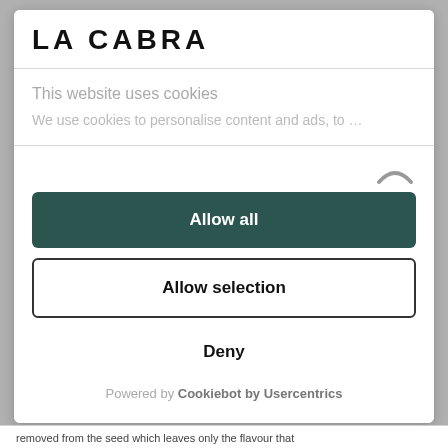LA CABRA
This website uses cookies
We use cookies to personalise content and ads, to …
Allow all
Allow selection
Deny
Powered by Cookiebot by Usercentrics
removed from the seed which leaves only the flavour that